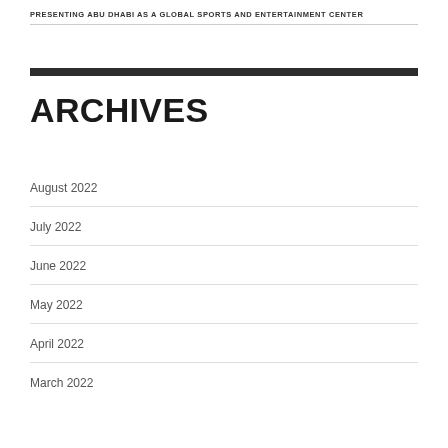PRESENTING ABU DHABI AS A GLOBAL SPORTS AND ENTERTAINMENT CENTER
ARCHIVES
August 2022
July 2022
June 2022
May 2022
April 2022
March 2022